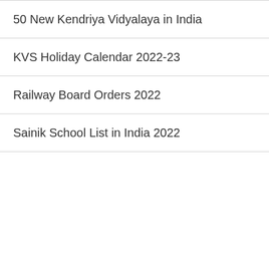50 New Kendriya Vidyalaya in India
KVS Holiday Calendar 2022-23
Railway Board Orders 2022
Sainik School List in India 2022